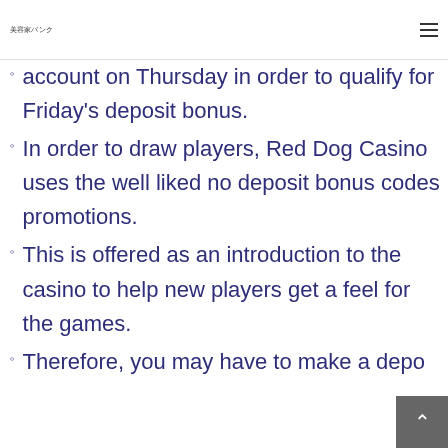美容家バンク
account on Thursday in order to qualify for Friday’s deposit bonus.
In order to draw players, Red Dog Casino uses the well liked no deposit bonus codes promotions.
This is offered as an introduction to the casino to help new players get a feel for the games.
Therefore, you may have to make a depo…